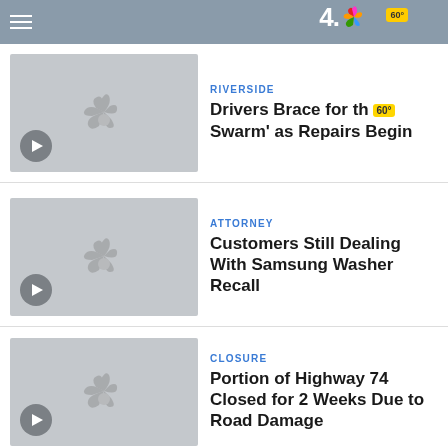[Figure (screenshot): NBC 4 navigation bar with hamburger menu and NBC peacock logo]
[Figure (photo): Video thumbnail placeholder with NBC peacock logo and play button]
RIVERSIDE
Drivers Brace for th 60° Swarm' as Repairs Begin
[Figure (photo): Video thumbnail placeholder with NBC peacock logo and play button]
ATTORNEY
Customers Still Dealing With Samsung Washer Recall
[Figure (photo): Video thumbnail placeholder with NBC peacock logo and play button]
CLOSURE
Portion of Highway 74 Closed for 2 Weeks Due to Road Damage